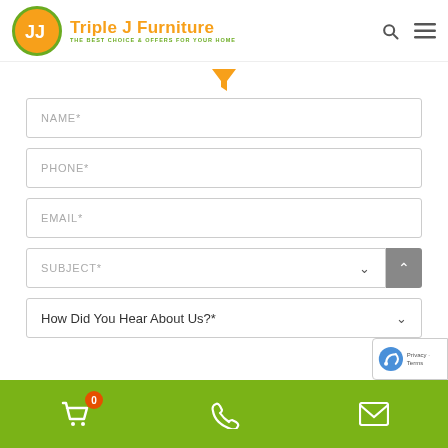[Figure (logo): Triple J Furniture logo with orange circle containing white JJ letters, orange brand name text and green tagline]
[Figure (other): Orange funnel/filter icon]
NAME*
PHONE*
EMAIL*
SUBJECT*
How Did You Hear About Us?*
[Figure (other): Green footer bar with cart icon (badge showing 0), phone icon, and envelope icon]